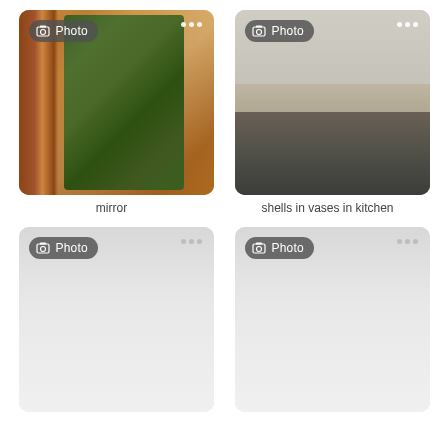[Figure (photo): Interior photo of a bedroom/hallway with mirror and large plant in dark vase on shelf, warm tones with wooden door frame]
mirror
[Figure (photo): Kitchen interior showing white cabinetry with vent hood, dark countertop with plant, pots, and red apples near sink]
shells in vases in kitchen
[Figure (photo): Loading photo placeholder — light gray gradient]
[Figure (photo): Loading photo placeholder — light gray gradient]